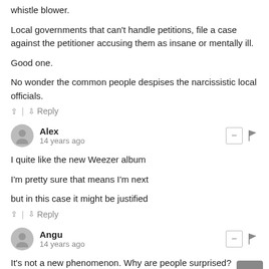whistle blower.
Local governments that can't handle petitions, file a case against the petitioner accusing them as insane or mentally ill.
Good one.
No wonder the common people despises the narcissistic local officials.
↑ | ↓ Reply
Alex
14 years ago
I quite like the new Weezer album

I'm pretty sure that means I'm next

but in this case it might be justified
↑ | ↓ Reply
Angu
14 years ago
It's not a new phenomenon. Why are people surprised?
Because they are young and don't know the history of their...